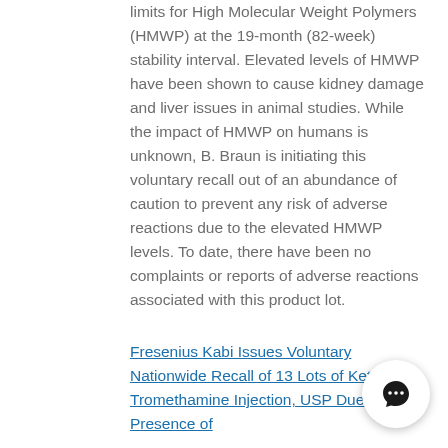limits for High Molecular Weight Polymers (HMWP) at the 19-month (82-week) stability interval. Elevated levels of HMWP have been shown to cause kidney damage and liver issues in animal studies. While the impact of HMWP on humans is unknown, B. Braun is initiating this voluntary recall out of an abundance of caution to prevent any risk of adverse reactions due to the elevated HMWP levels. To date, there have been no complaints or reports of adverse reactions associated with this product lot.
Fresenius Kabi Issues Voluntary Nationwide Recall of 13 Lots of Ketorolac Tromethamine Injection, USP Due to the Presence of